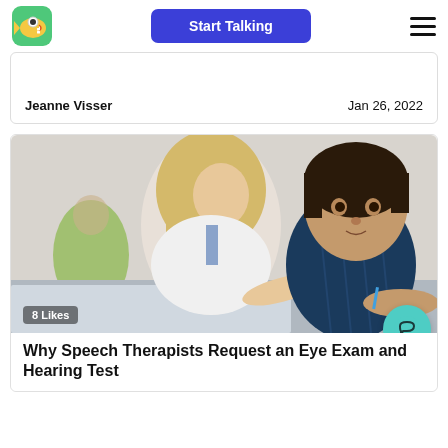[Figure (logo): Colorful fish mascot logo on green rounded-square background]
Start Talking
Jeanne Visser    Jan 26, 2022
[Figure (photo): A therapist or teacher with blond hair working alongside a young child who is writing or drawing, both leaning over a table. 8 Likes badge in lower left.]
Why Speech Therapists Request an Eye Exam and Hearing Test